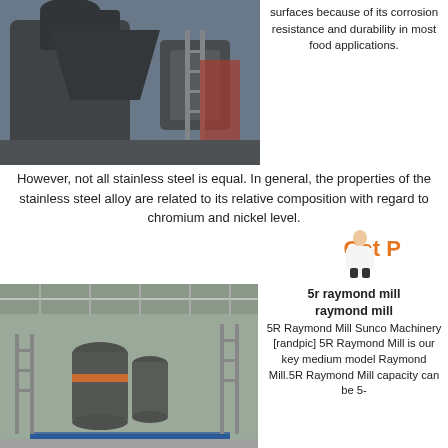[Figure (photo): Industrial mill/machinery in a large workshop or factory setting, dark metal equipment]
surfaces because of its corrosion resistance and durability in most food applications.
However, not all stainless steel is equal. In general, the properties of the stainless steel alloy are related to its relative composition with regard to chromium and nickel level.
Get P...
[Figure (photo): Large Raymond mill machinery inside an industrial warehouse with high ceiling]
5r raymond mill raymond mill
5R Raymond Mill Sunco Machinery [randpic] 5R Raymond Mill is our key medium model Raymond Mill.5R Raymond Mill capacity can be 5-
12t/h, and the 5R4119 Raymond
Get Price